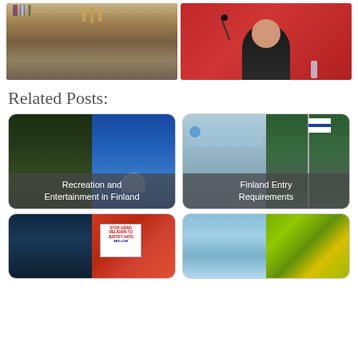[Figure (photo): Finnish parliament interior with people seated, flags and statues visible]
[Figure (photo): Woman with dark hair against red background at microphone]
Related Posts:
[Figure (photo): Recreation and Entertainment in Finland - two photos showing nature and blue sky building]
[Figure (photo): Finland Entry Requirements - map and Finnish flag photos]
[Figure (photo): Bottom left card with nature and protest sign photos]
[Figure (photo): Bottom right card with sky and flag photos]